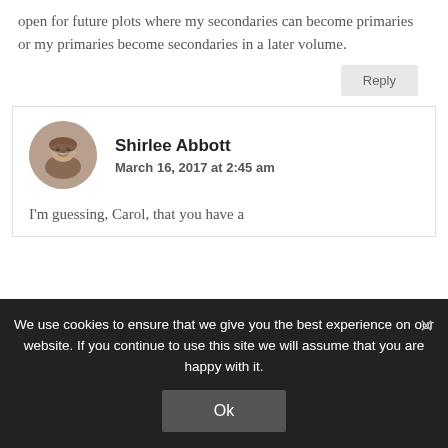open for future plots where my secondaries can become primaries or my primaries become secondaries in a later volume.
Reply
Shirlee Abbott
March 16, 2017 at 2:45 am
I'm guessing, Carol, that you have a
We use cookies to ensure that we give you the best experience on our website. If you continue to use this site we will assume that you are happy with it.
Ok